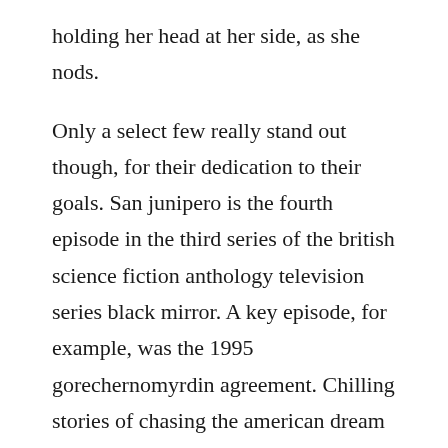holding her head at her side, as she nods.

Only a select few really stand out though, for their dedication to their goals. San junipero is the fourth episode in the third series of the british science fiction anthology television series black mirror. A key episode, for example, was the 1995 gorechernomyrdin agreement. Chilling stories of chasing the american dream and how the veneer can dramatically crumble, ending in murder at the hands of a trusted family member, coworker, lover, or friend. With a unique blend of